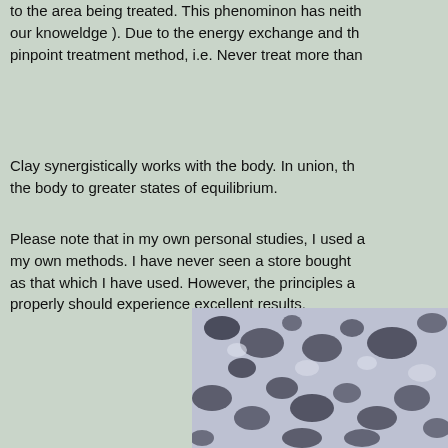with a scalar radiation that is 30 minutes to 2 hours, meaning it goes to the area being treated. This phenominon has neither ... our knoweldge ). Due to the energy exchange and th... pinpoint treatment method, i.e. Never treat more than...
Clay synergistically works with the body. In union, th... the body to greater states of equilibrium.
Please note that in my own personal studies, I used a... my own methods. I have never seen a store bought... as that which I have used. However, the principles a... properly should experience excellent results.
[Figure (illustration): A decorative swirling line flourish in muted green/grey tones]
[Figure (photo): A close-up microscopic or macro photograph of clay texture, showing a mottled black and white/lavender granular surface]